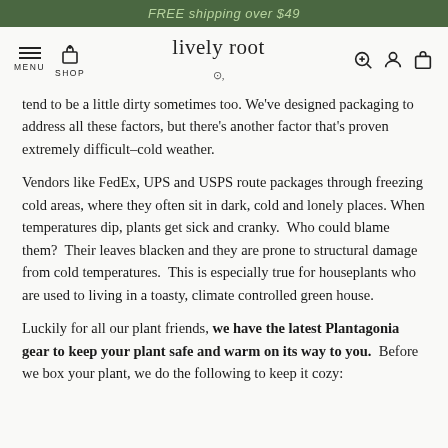FREE shipping over $49
[Figure (screenshot): Lively Root website navigation bar with hamburger menu, shop icon, logo, search, account, and cart icons]
tend to be a little dirty sometimes too. We've designed packaging to address all these factors, but there's another factor that's proven extremely difficult–cold weather.
Vendors like FedEx, UPS and USPS route packages through freezing cold areas, where they often sit in dark, cold and lonely places. When temperatures dip, plants get sick and cranky.  Who could blame them?  Their leaves blacken and they are prone to structural damage from cold temperatures.  This is especially true for houseplants who are used to living in a toasty, climate controlled green house.
Luckily for all our plant friends, we have the latest Plantagonia gear to keep your plant safe and warm on its way to you.  Before we box your plant, we do the following to keep it cozy: